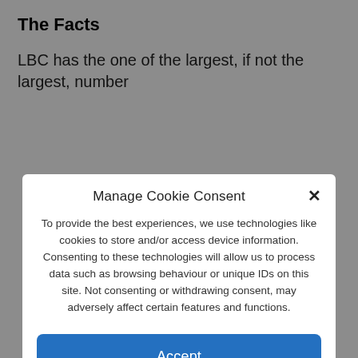The Facts
LBC has the one of the largest, if not the largest, number
Manage Cookie Consent
To provide the best experiences, we use technologies like cookies to store and/or access device information. Consenting to these technologies will allow us to process data such as browsing behaviour or unique IDs on this site. Not consenting or withdrawing consent, may adversely affect certain features and functions.
Accept
Deny
View preferences
Cookies   Privacy